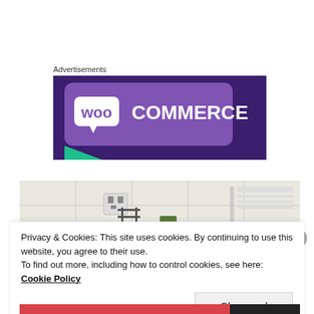Advertisements
[Figure (logo): WooCommerce advertisement banner with purple background and WooCommerce logo in white text]
[Figure (photo): Kitchen scene showing white tiled wall, power outlets, a wire rack/stand, plant, and countertop]
Privacy & Cookies: This site uses cookies. By continuing to use this website, you agree to their use.
To find out more, including how to control cookies, see here: Cookie Policy
Close and accept